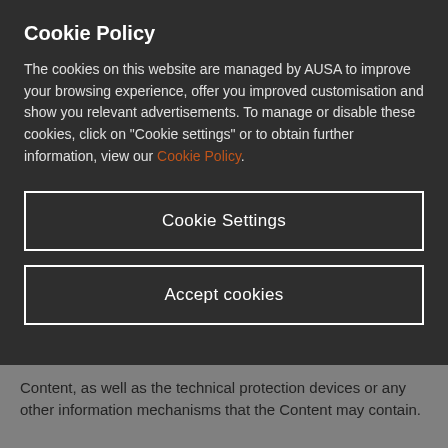Cookie Policy
The cookies on this website are managed by AUSA to improve your browsing experience, offer you improved customisation and show you relevant advertisements. To manage or disable these cookies, click on "Cookie settings" or to obtain further information, view our Cookie Policy.
Cookie Settings
Accept cookies
Content, as well as the technical protection devices or any other information mechanisms that the Content may contain.
Not to alter, reprogram, modify, adapt or translate the source code of this Website.
A...